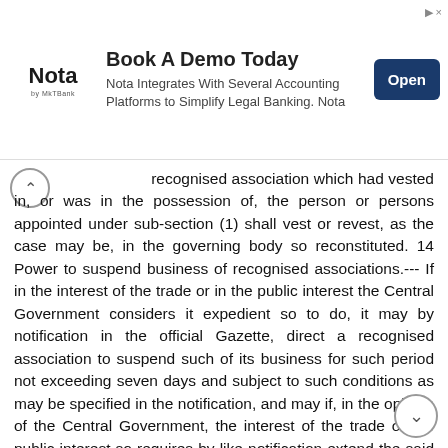[Figure (other): Advertisement banner for Nota. Headline: 'Book A Demo Today'. Subtext: 'Nota Integrates With Several Accounting Platforms to Simplify Legal Banking. Nota'. Nota logo on left, Open button on right.]
recognised association which had vested in, or was in the possession of, the person or persons appointed under sub-section (1) shall vest or revest, as the case may be, in the governing body so reconstituted. 14 Power to suspend business of recognised associations.--- If in the interest of the trade or in the public interest the Central Government considers it expedient so to do, it may by notification in the official Gazette, direct a recognised association to suspend such of its business for such period not exceeding seven days and subject to such conditions as may be specified in the notification, and may if, in the opinion of the Central Government, the interest of the trade or the public interest so requires by like notification extend the said period from time to time. Provided that where the period of suspension is likely to exceed one month, no notification extending the suspension beyond such period shall be issued, unless the governing body of the recognised association has been given an opportunity